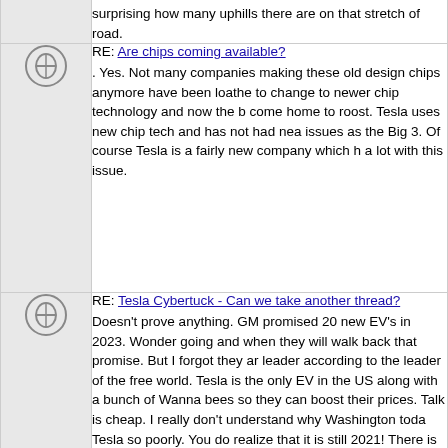surprising how many uphills there are on that stretch of road.
RE: Are chips coming available?
. Yes. Not many companies making these old design chips anymore have been loathe to change to newer chip technology and now the b come home to roost. Tesla uses new chip tech and has not had nea issues as the Big 3. Of course Tesla is a fairly new company which h a lot with this issue.
RE: Tesla Cybertuck - Can we take another thread?
Doesn't prove anything. GM promised 20 new EV's in 2023. Wonder going and when they will walk back that promise. But I forgot they ar leader according to the leader of the free world. Tesla is the only EV in the US along with a bunch of Wanna bees so they can boost their prices. Talk is cheap. I really don't understand why Washington toda Tesla so poorly. You do realize that it is still 2021! There is another 2 left before 2023. You do know that GM was including all countries, s may be outside US, Canada and Mexico. Based on your comments, amazing that you think it is appropriate for Tesla to be years behind t announced dates and reservation payments. 2023 is actually 12.6 m and 2023 vehicles around 9 months away. When did I ever say it wa appropriate for Tesla to be years behind? That is false and you know find posts in other threads from me saying the exact opposite. You c dates and words however you want, but facts are facts.
RE: Tesla Cybertuck - Can we take another thread?
I am not an EV fan boy. But I do reaize EV's are coming and will rev the auto world. All you need to do is drive a Tesla and you will under you have not driven a Tesla you most likely do not get it. Driving a T